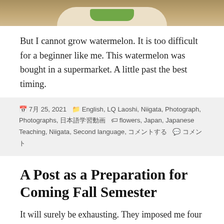[Figure (photo): Top portion of a photo showing a plate with watermelon on a table, cropped at top of page]
But I cannot grow watermelon. It is too difficult for a beginner like me. This watermelon was bought in a supermarket. A little past the best timing.
7月 25, 2021  English, LQ Laoshi, Niigata, Photograph, Photographs, 日本語学習動画  flowers, Japan, Japanese Teaching, Niigata, Second language, コメントする  コメント
A Post as a Preparation for Coming Fall Semester
It will surely be exhausting. They imposed me four subjects that should be taught in coming fall semester. I am serious, I mean I don't want to get workaholic death. I have to prepare for teaching